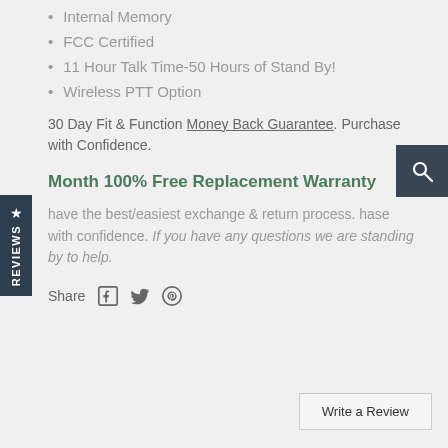Internal Memory
FCC Certified
11 Hour Talk Time-50 Hours of Stand By!
Wireless PTT Option
30 Day Fit & Function Money Back Guarantee. Purchase with Confidence.
Month 100% Free Replacement Warranty
have the best/easiest exchange & return process. hase with confidence. If you have any questions we are standing by to help.